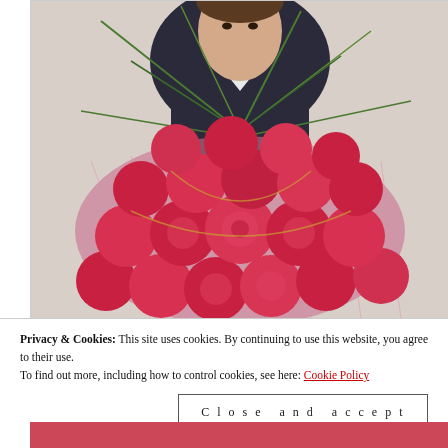[Figure (photo): Man in dark suit holding a large bouquet of vivid pink/red roses wrapped in pink mesh netting, photographed against a light background. Only the man's chest and the bouquet are visible.]
Privacy & Cookies: This site uses cookies. By continuing to use this website, you agree to their use.
To find out more, including how to control cookies, see here: Cookie Policy
Close and accept
[Figure (photo): Partial bottom strip showing another photo with red/pink tones.]